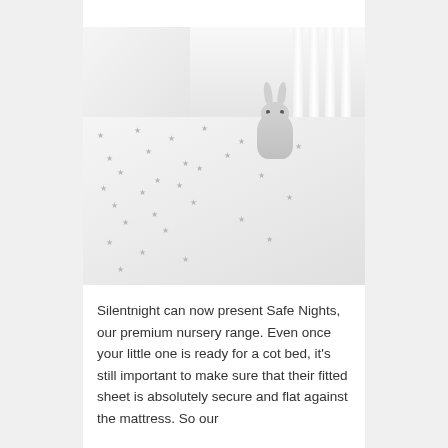[Figure (photo): A white baby cot/crib viewed from above at an angle, showing a fitted sheet with a grey star pattern. A grey plush bunny toy sits in the corner of the cot against the white slatted bars.]
Silentnight can now present Safe Nights, our premium nursery range. Even once your little one is ready for a cot bed, it's still important to make sure that their fitted sheet is absolutely secure and flat against the mattress. So our